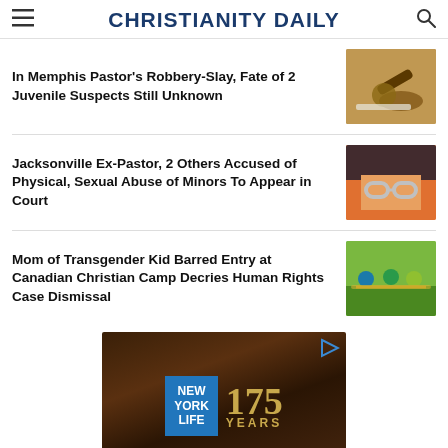CHRISTIANITY DAILY
In Memphis Pastor's Robbery-Slay, Fate of 2 Juvenile Suspects Still Unknown
Jacksonville Ex-Pastor, 2 Others Accused of Physical, Sexual Abuse of Minors To Appear in Court
Mom of Transgender Kid Barred Entry at Canadian Christian Camp Decries Human Rights Case Dismissal
[Figure (photo): Advertisement for New York Life 175 Years]